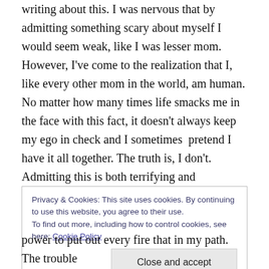writing about this. I was nervous that by admitting something scary about myself I would seem weak, like I was lesser mom. However, I've come to the realization that I, like every other mom in the world, am human. No matter how many times life smacks me in the face with this fact, it doesn't always keep my ego in check and I sometimes  pretend I have it all together. The truth is, I don't. Admitting this is both terrifying and liberating, so with that said… Let's do this.
Over the past few months, I've been struggling with
Privacy & Cookies: This site uses cookies. By continuing to use this website, you agree to their use.
To find out more, including how to control cookies, see here: Cookie Policy

[Close and accept]
power to put out every fire that in my path. The trouble